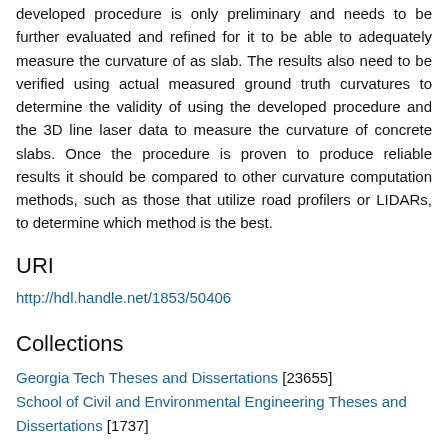developed procedure is only preliminary and needs to be further evaluated and refined for it to be able to adequately measure the curvature of as slab. The results also need to be verified using actual measured ground truth curvatures to determine the validity of using the developed procedure and the 3D line laser data to measure the curvature of concrete slabs. Once the procedure is proven to produce reliable results it should be compared to other curvature computation methods, such as those that utilize road profilers or LIDARs, to determine which method is the best.
URI
http://hdl.handle.net/1853/50406
Collections
Georgia Tech Theses and Dissertations [23655]
School of Civil and Environmental Engineering Theses and Dissertations [1737]